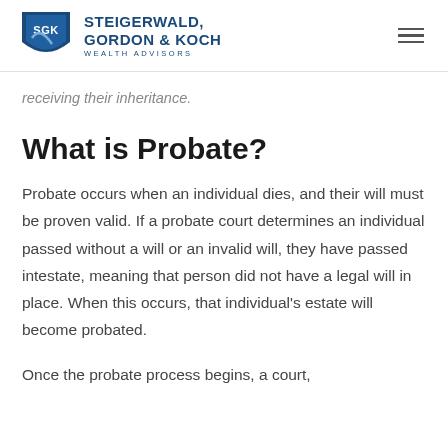Steigerwald, Gordon & Koch Wealth Advisors
receiving their inheritance.
What is Probate?
Probate occurs when an individual dies, and their will must be proven valid. If a probate court determines an individual passed without a will or an invalid will, they have passed intestate, meaning that person did not have a legal will in place. When this occurs, that individual's estate will become probated.
Once the probate process begins, a court,